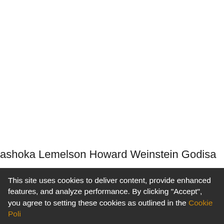ashoka Lemelson Howard Weinstein Godisa
This site uses cookies to deliver content, provide enhanced features, and analyze performance. By clicking "Accept", you agree to setting these cookies as outlined in the Cookie Poli...